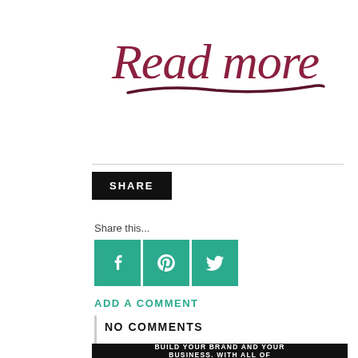[Figure (illustration): Handwritten-style cursive text reading 'Read more' in dark red/maroon color with a wavy underline stroke beneath it]
SHARE
Share this...
[Figure (infographic): Three teal/green square social media icon buttons: Facebook (f), Pinterest (p), Twitter (bird icon)]
ADD A COMMENT
NO COMMENTS
[Figure (infographic): Black banner at the bottom with white bold uppercase text reading: BUILD YOUR BRAND AND YOUR BUSINESS. WITH ALL OF]